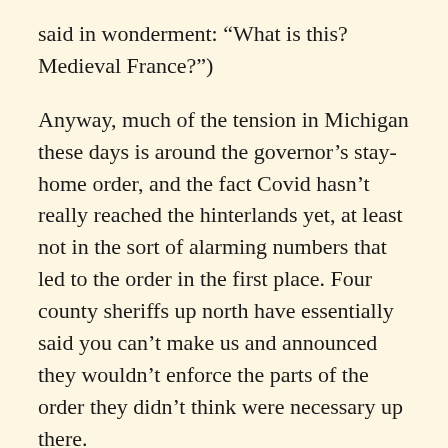said in wonderment: “What is this? Medieval France?”)
Anyway, much of the tension in Michigan these days is around the governor’s stay-home order, and the fact Covid hasn’t really reached the hinterlands yet, at least not in the sort of alarming numbers that led to the order in the first place. Four county sheriffs up north have essentially said you can’t make us and announced they wouldn’t enforce the parts of the order they didn’t think were necessary up there.
I find myself torn between two common-